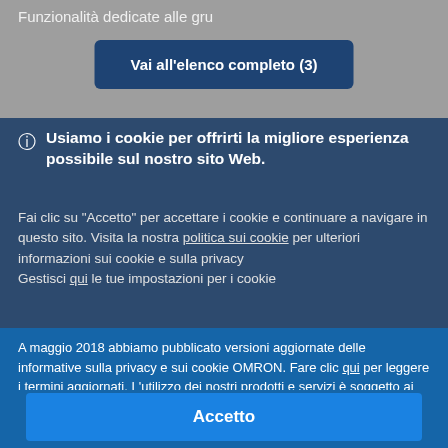Funzionalità dedicate alle gru
Vai all'elenco completo (3)
Usiamo i cookie per offrirti la migliore esperienza possibile sul nostro sito Web.
Fai clic su "Accetto" per accettare i cookie e continuare a navigare in questo sito. Visita la nostra politica sui cookie per ulteriori informazioni sui cookie e sulla privacy
Gestisci qui le tue impostazioni per i cookie
A maggio 2018 abbiamo pubblicato versioni aggiornate delle informative sulla privacy e sui cookie OMRON. Fare clic qui per leggere i termini aggiornati. L'utilizzo dei nostri prodotti e servizi è soggetto ai termini riveduti.
Accetto